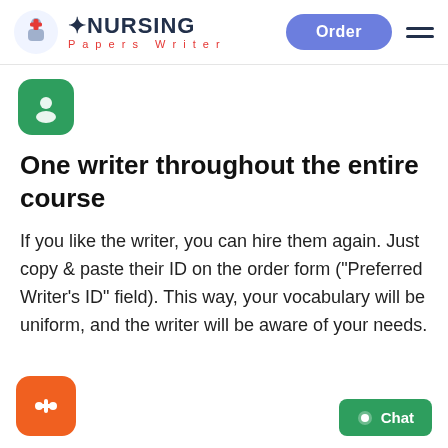NURSING Papers Writer | Order
[Figure (logo): Green rounded square icon with white user/chat symbol]
One writer throughout the entire course
If you like the writer, you can hire them again. Just copy & paste their ID on the order form ("Preferred Writer's ID" field). This way, your vocabulary will be uniform, and the writer will be aware of your needs.
[Figure (logo): Orange rounded square icon with white plus/audio symbol]
[Figure (other): Green Chat button in bottom right corner]